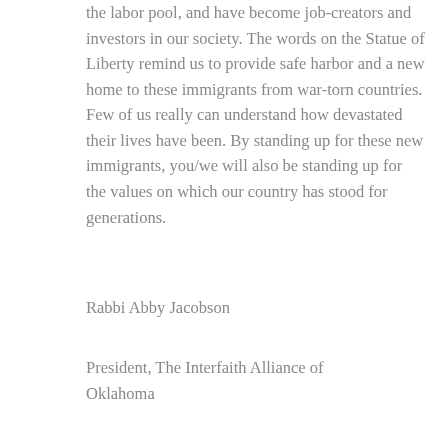the labor pool, and have become job-creators and investors in our society. The words on the Statue of Liberty remind us to provide safe harbor and a new home to these immigrants from war-torn countries. Few of us really can understand how devastated their lives have been. By standing up for these new immigrants, you/we will also be standing up for the values on which our country has stood for generations.
Rabbi Abby Jacobson
President, The Interfaith Alliance of Oklahoma